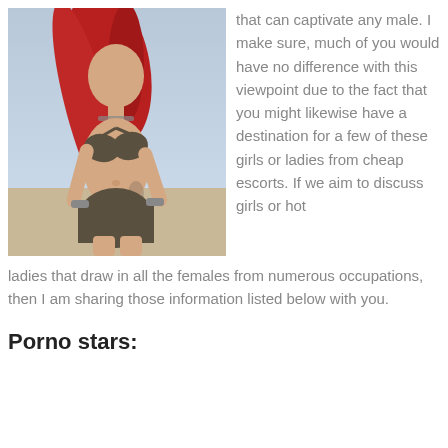[Figure (photo): Young woman with long red hair wearing a dark bikini top and short skirt, posing outdoors.]
that can captivate any male. I make sure, much of you would have no difference with this viewpoint due to the fact that you might likewise have a destination for a few of these girls or ladies from cheap escorts. If we aim to discuss girls or hot ladies that draw in all the females from numerous occupations, then I am sharing those information listed below with you.
Porno stars: